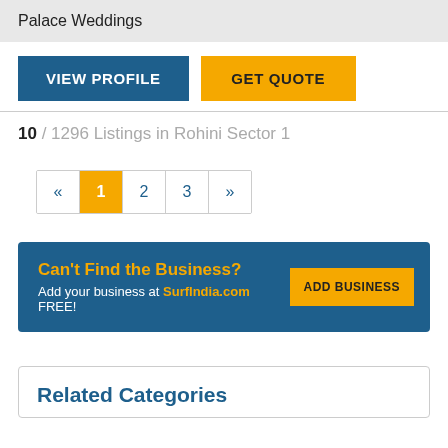Palace Weddings
VIEW PROFILE  GET QUOTE
10 / 1296 Listings in Rohini Sector 1
« 1 2 3 »
Can't Find the Business? Add your business at SurfIndia.com FREE! ADD BUSINESS
Related Categories